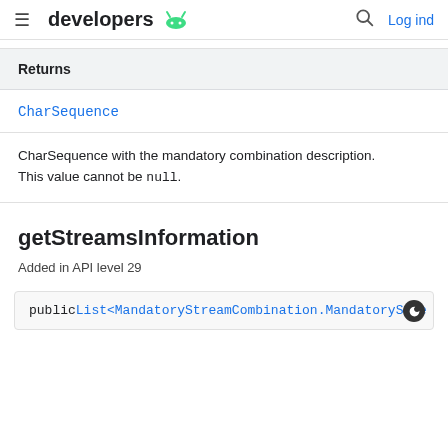developers  Log ind
| Returns |
| --- |
| CharSequence |
CharSequence with the mandatory combination description. This value cannot be null.
getStreamsInformation
Added in API level 29
public List<MandatoryStreamCombination.MandatoryStre